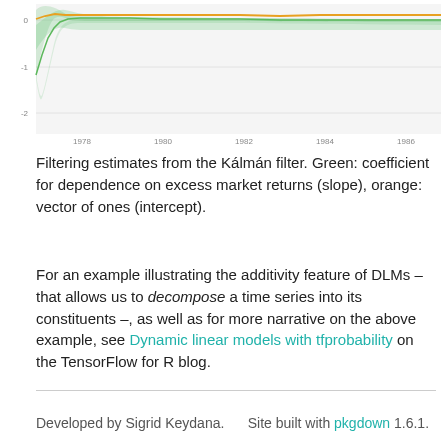[Figure (continuous-plot): Time series chart showing Kálmán filter estimates from 1978 to 1986. Green shaded area and green line show coefficient for dependence on excess market returns (slope). Orange line shows vector of ones (intercept). Y-axis ranges approximately from -2 to 0. X-axis shows years: 1978, 1980, 1982, 1984, 1986.]
Filtering estimates from the Kálmán filter. Green: coefficient for dependence on excess market returns (slope), orange: vector of ones (intercept).
For an example illustrating the additivity feature of DLMs – that allows us to decompose a time series into its constituents –, as well as for more narrative on the above example, see Dynamic linear models with tfprobability on the TensorFlow for R blog.
Developed by Sigrid Keydana.    Site built with pkgdown 1.6.1.